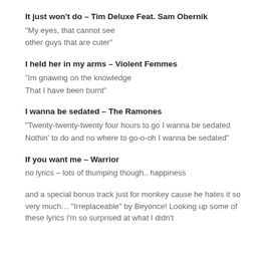It just won't do – Tim Deluxe Feat. Sam Obernik
“My eyes, that cannot see
other guys that are cuter”
I held her in my arms – Violent Femmes
“Im gnawing on the knowledge
That I have been burnt”
I wanna be sedated – The Ramones
“Twenty-twenty-twenty four hours to go I wanna be sedated
Nothin’ to do and no where to go-o-oh I wanna be sedated”
If you want me – Warrior
no lyrics – lots of thumping though.. happiness
and a special bonus track just for monkey cause he hates it so very much… “Irreplaceable” by Beyonce!  Looking up some of these lyrics I’m so surprised at what I didn’t